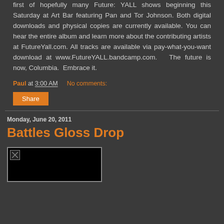first of hopefully many Future: YALL shows beginning this Saturday at Art Bar featuring Pan and Tor Johnson. Both digital downloads and physical copies are currently available. You can hear the entire album and learn more about the contributing artists at FutureYall.com. All tracks are available via pay-what-you-want download at www.FutureYALL.bandcamp.com. The future is now, Columbia. Embrace it.
Paul at 3:00 AM    No comments:
Share
Monday, June 20, 2011
Battles Gloss Drop
[Figure (photo): Small broken image placeholder in a black rectangle box]